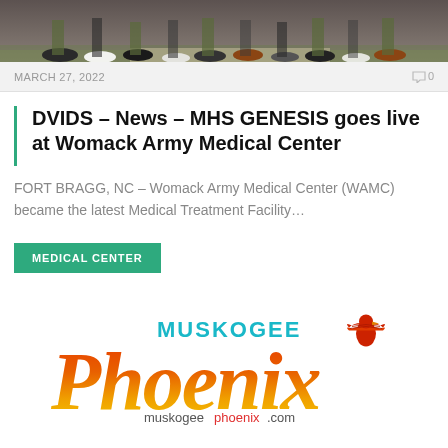[Figure (photo): Bottom portion of a group photo showing people's feet and lower legs, standing on grass and a walkway]
MARCH 27, 2022    🗨 0
DVIDS – News – MHS GENESIS goes live at Womack Army Medical Center
FORT BRAGG, NC – Womack Army Medical Center (WAMC) became the latest Medical Treatment Facility…
MEDICAL CENTER
[Figure (logo): Muskogee Phoenix newspaper logo with orange and red gradient text, teal 'MUSKOGEE' text, red eagle emblem, and muskogeephoenix.com URL below]